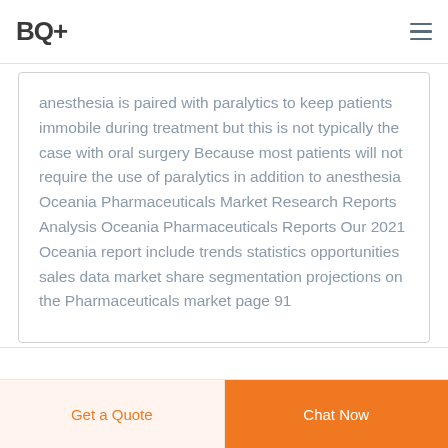BQ+
anesthesia is paired with paralytics to keep patients immobile during treatment but this is not typically the case with oral surgery Because most patients will not require the use of paralytics in addition to anesthesia Oceania Pharmaceuticals Market Research Reports Analysis Oceania Pharmaceuticals Reports Our 2021 Oceania report include trends statistics opportunities sales data market share segmentation projections on the Pharmaceuticals market page 91
Get a Quote  Chat Now